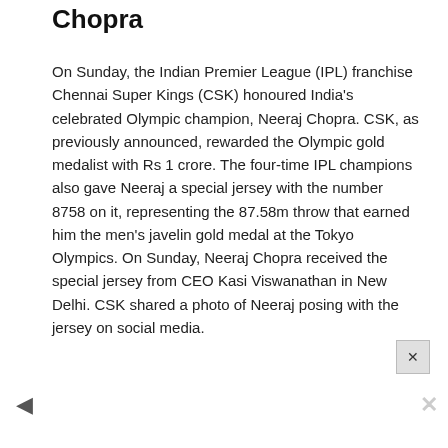Chopra
On Sunday, the Indian Premier League (IPL) franchise Chennai Super Kings (CSK) honoured India's celebrated Olympic champion, Neeraj Chopra. CSK, as previously announced, rewarded the Olympic gold medalist with Rs 1 crore. The four-time IPL champions also gave Neeraj a special jersey with the number 8758 on it, representing the 87.58m throw that earned him the men's javelin gold medal at the Tokyo Olympics. On Sunday, Neeraj Chopra received the special jersey from CEO Kasi Viswanathan in New Delhi. CSK shared a photo of Neeraj posing with the jersey on social media.